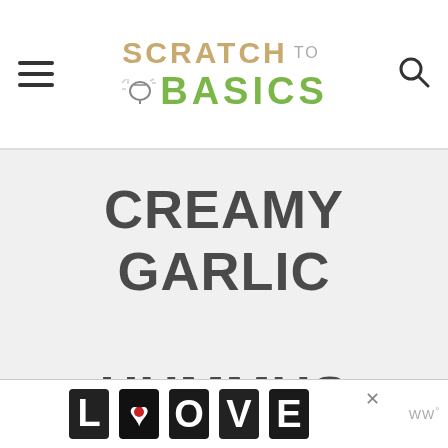SCRATCH TO BASICS
CREAMY GARLIC HUMMUS
prep time: 5 MINUTES   total time: 5 MINUTES
A delicious creamy garlic hummus recipe that's simple to make in a food processor. A perfect dip to serve at your next party.
[Figure (other): LOOVE advertisement banner at bottom of page with decorative letter art]